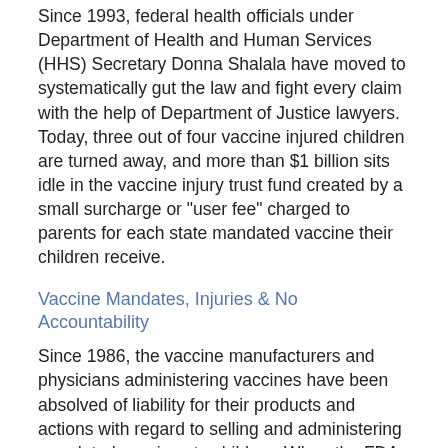Since 1993, federal health officials under Department of Health and Human Services (HHS) Secretary Donna Shalala have moved to systematically gut the law and fight every claim with the help of Department of Justice lawyers. Today, three out of four vaccine injured children are turned away, and more than $1 billion sits idle in the vaccine injury trust fund created by a small surcharge or "user fee" charged to parents for each state mandated vaccine their children receive.
Vaccine Mandates, Injuries & No Accountability
Since 1986, the vaccine manufacturers and physicians administering vaccines have been absolved of liability for their products and actions with regard to selling and administering mandated vaccines to children. When the FDA licenses a new vaccine, the drug company lobbies federal health officials at the CDC to issue a recommendation for "universal use" of the new vaccine by all children. After that, state health officials add the new